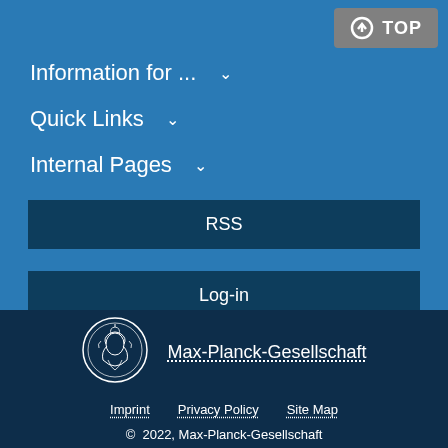Information for ... ∨
Quick Links ∨
Internal Pages ∨
RSS
Log-in
[Figure (logo): Max-Planck-Gesellschaft logo with Minerva figure in circular medallion]
Max-Planck-Gesellschaft
Imprint   Privacy Policy   Site Map
© 2022, Max-Planck-Gesellschaft